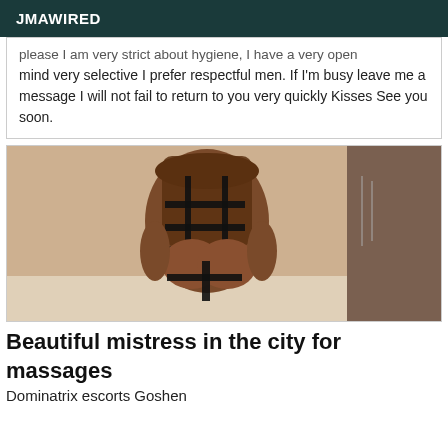JMAWIRED
please I am very strict about hygiene, I have a very open mind very selective I prefer respectful men. If I'm busy leave me a message I will not fail to return to you very quickly Kisses See you soon.
[Figure (photo): A person viewed from behind wearing a black harness/bondage lingerie outfit with long hair.]
Beautiful mistress in the city for massages
Dominatrix escorts Goshen